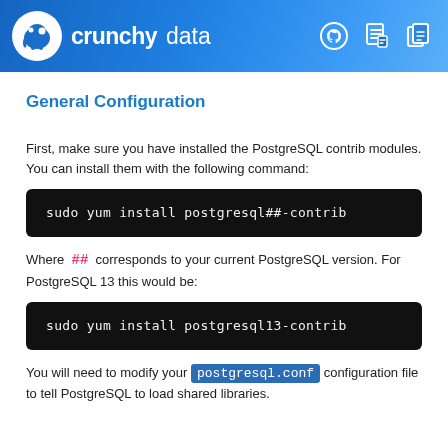crunchy data [header with logo and icons]
General Configuration
First, make sure you have installed the PostgreSQL contrib modules. You can install them with the following command:
sudo yum install postgresql##-contrib
Where ## corresponds to your current PostgreSQL version. For PostgreSQL 13 this would be:
sudo yum install postgresql13-contrib
You will need to modify your postgresql.conf configuration file to tell PostgreSQL to load shared libraries.